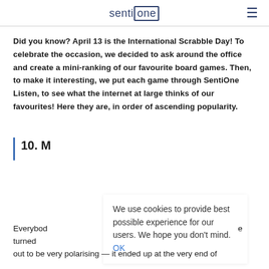sentione
Did you know? April 13 is the International Scrabble Day! To celebrate the occasion, we decided to ask around the office and create a mini-ranking of our favourite board games. Then, to make it interesting, we put each game through SentiOne Listen, to see what the internet at large thinks of our favourites! Here they are, in order of ascending popularity.
10. M
We use cookies to provide best possible experience for our users. We hope you don't mind. OK
Everybody turned out to be very polarising — it ended up at the very end of